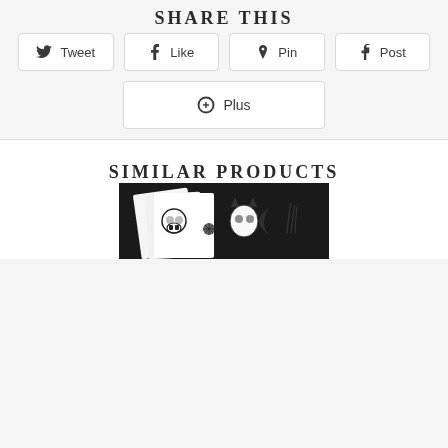SHARE THIS
[Figure (screenshot): Social share buttons: Tweet, Like, Pin, Post, Plus]
SIMILAR PRODUCTS
[Figure (photo): Product image showing tattoo flash art with skulls, spiders, and moon designs on paper]